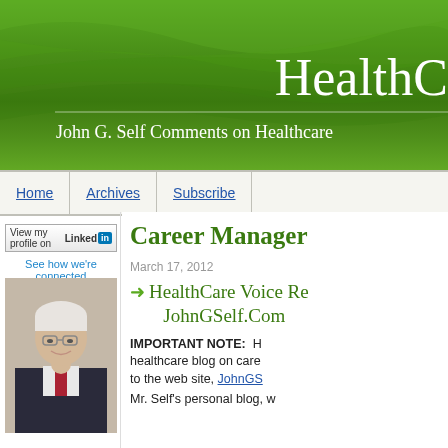HealthC[are Voice]
John G. Self Comments on Healthcare [Management]
Home | Archives | Subscribe
[Figure (photo): LinkedIn profile button and 'See how we're connected' link]
[Figure (photo): Professional headshot of older gentleman with white hair, glasses, wearing dark suit and red tie]
Career Manager[ment]
March 17, 2012
HealthCare Voice Re[directs to] JohnGSelf.Com
IMPORTANT NOTE: H[ealthcare blog on career management has moved] to the web site, JohnGS[elf.com]
Mr. Self's personal blog, w[hich...]